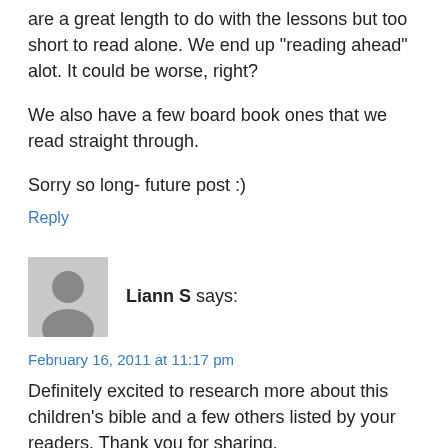are a great length to do with the lessons but too short to read alone. We end up "reading ahead" alot. It could be worse, right?
We also have a few board book ones that we read straight through.
Sorry so long- future post :)
Reply
Liann S says:
February 16, 2011 at 11:17 pm
Definitely excited to research more about this children's bible and a few others listed by your readers. Thank you for sharing.